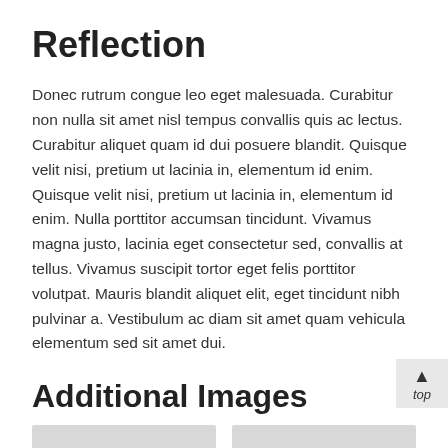Reflection
Donec rutrum congue leo eget malesuada. Curabitur non nulla sit amet nisl tempus convallis quis ac lectus. Curabitur aliquet quam id dui posuere blandit. Quisque velit nisi, pretium ut lacinia in, elementum id enim. Quisque velit nisi, pretium ut lacinia in, elementum id enim. Nulla porttitor accumsan tincidunt. Vivamus magna justo, lacinia eget consectetur sed, convallis at tellus. Vivamus suscipit tortor eget felis porttitor volutpat. Mauris blandit aliquet elit, eget tincidunt nibh pulvinar a. Vestibulum ac diam sit amet quam vehicula elementum sed sit amet dui.
Additional Images
[Figure (photo): Two image placeholders shown as grey rectangles at the bottom of the page, partially visible.]